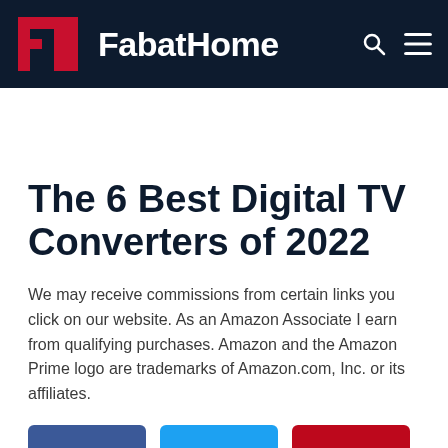FabatHome
The 6 Best Digital TV Converters of 2022
We may receive commissions from certain links you click on our website. As an Amazon Associate I earn from qualifying purchases. Amazon and the Amazon Prime logo are trademarks of Amazon.com, Inc. or its affiliates.
[Figure (other): Three social share buttons: Facebook (dark blue), Twitter (light blue), Pinterest (red)]